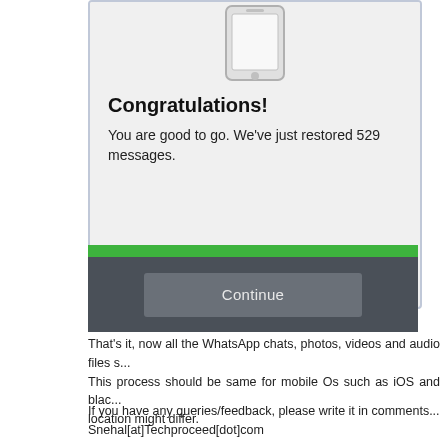[Figure (screenshot): Screenshot of a mobile app UI showing a phone icon, a congratulations message reading 'Congratulations! You are good to go. We've just restored 529 messages.', a green progress bar, and a 'Continue' button on a dark background.]
That's it, now all the WhatsApp chats, photos, videos and audio files s... This process should be same for mobile Os such as iOS and blac... location might differ.
If you have any queries/feedback, please write it in comments... Snehal[at]Techproceed[dot]com